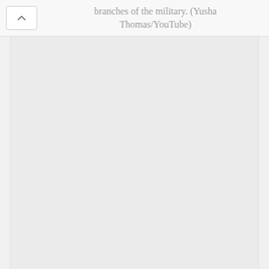branches of the military. (Yusha Thomas/YouTube)